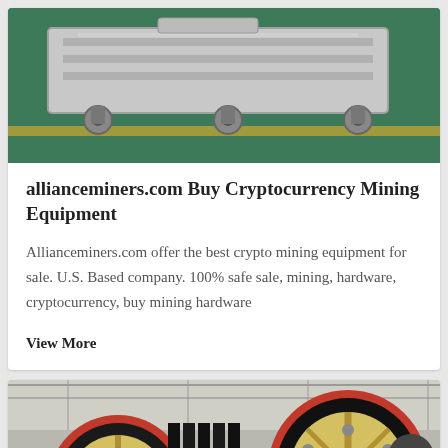[Figure (photo): Industrial mining equipment on a green floor, overhead view showing machinery frames and mounting hardware]
allianceminers.com Buy Cryptocurrency Mining Equipment
Allianceminers.com offer the best crypto mining equipment for sale. U.S. Based company. 100% safe sale, mining, hardware, cryptocurrency, buy mining hardware
View More
[Figure (photo): Large industrial jaw crusher wheels/pulleys in a factory setting, yellow and red colored heavy machinery]